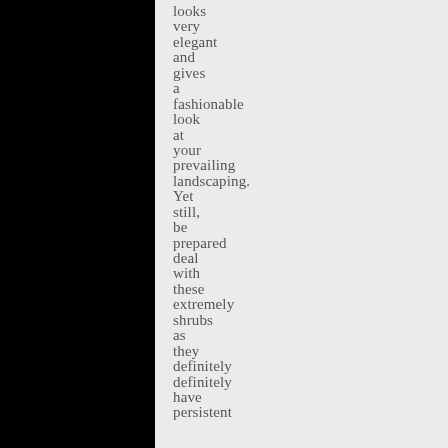looks very elegant and gives a fashionable look at your prevailing landscaping. Yet still, be prepared deal with these extremely shrubs as they definitely definitely have persistent